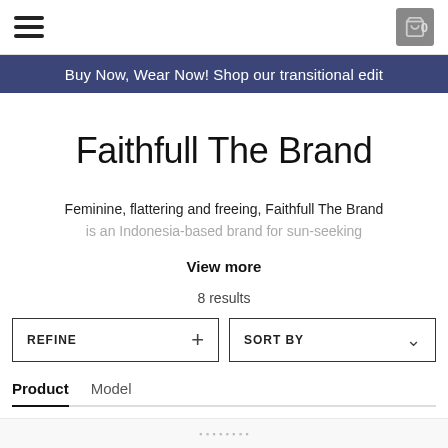Buy Now, Wear Now! Shop our transitional edit
Faithfull The Brand
Feminine, flattering and freeing, Faithfull The Brand is an Indonesia-based brand for sun-seeking
View more
8 results
REFINE
SORT BY
Product
Model